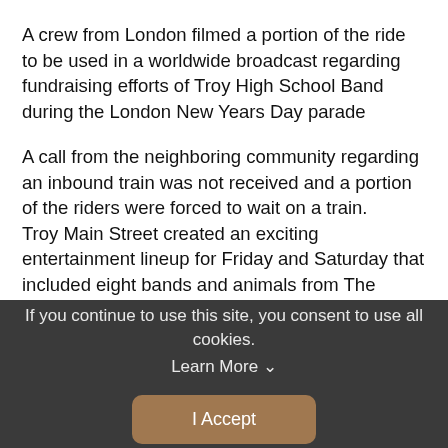A crew from London filmed a portion of the ride to be used in a worldwide broadcast regarding fundraising efforts of Troy High School Band during the London New Years Day parade
A call from the neighboring community regarding an inbound train was not received and a portion of the riders were forced to wait on a train.
Troy Main Street created an exciting entertainment lineup for Friday and Saturday that included eight bands and animals from The Columbus Zoo. For the first time ever we offered beer for sale.
Everything left over was donated to local organizations including The Rec, St Patricks soup kitchen, Lincoln Community Center, Family Abuse center of Miami County.
As ride day neared the weather forecast appeared perfect with
If you continue to use this site, you consent to use all cookies.
Learn More ›
I Accept